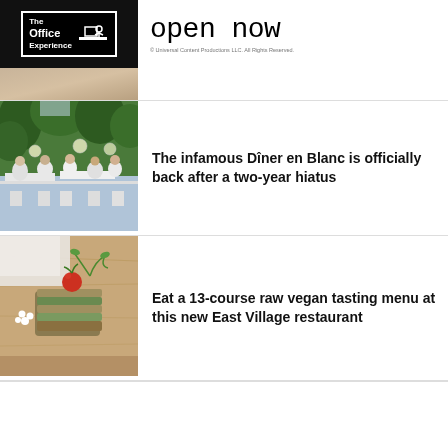[Figure (advertisement): The Office Experience advertisement banner with black background, logo on left (white bordered box with 'The Office Experience' text and icon of person at desk), and 'open now' text in large courier font on white right panel with copyright notice: © Universal Content Productions LLC. All Rights Reserved.]
[Figure (photo): Outdoor dining scene at Dîner en Blanc: people dressed in white seated at long tables under trees with globe lights]
The infamous Dîner en Blanc is officially back after a two-year hiatus
[Figure (photo): Close-up of an elaborate raw vegan dish on a wooden board — layered food with a cherry tomato on top and green herb garnish]
Eat a 13-course raw vegan tasting menu at this new East Village restaurant